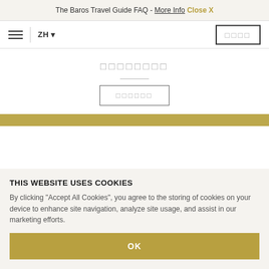The Baros Travel Guide FAQ - More Info  Close X
☰  |  ZH ▾
□□□□
□□□□□□□□
□□□□□□
THIS WEBSITE USES COOKIES
By clicking "Accept All Cookies", you agree to the storing of cookies on your device to enhance site navigation, analyze site usage, and assist in our marketing efforts.
OK